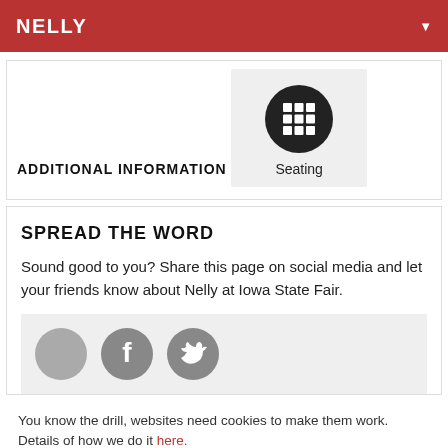NELLY
ADDITIONAL INFORMATION
[Figure (other): Seating icon — black circle with white grid/table symbol, labeled 'Seating']
SPREAD THE WORD
Sound good to you? Share this page on social media and let your friends know about Nelly at Iowa State Fair.
[Figure (other): Social share bar with Facebook and Twitter circle icons]
You know the drill, websites need cookies to make them work. Details of how we do it here.
Got it!